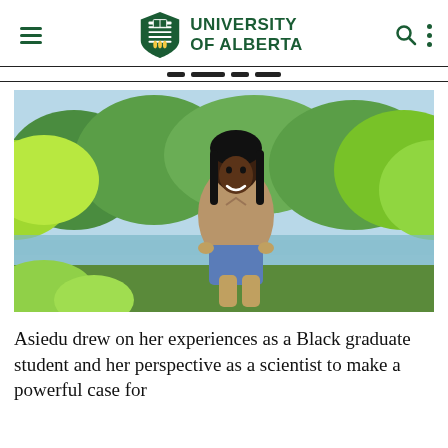University of Alberta
[Figure (photo): A smiling young Black woman with long straight hair, wearing a tan short-sleeve button-up shirt and blue denim shorts, standing outdoors near a river with green trees and foliage in the background on a sunny day.]
Asiedu drew on her experiences as a Black graduate student and her perspective as a scientist to make a powerful case for